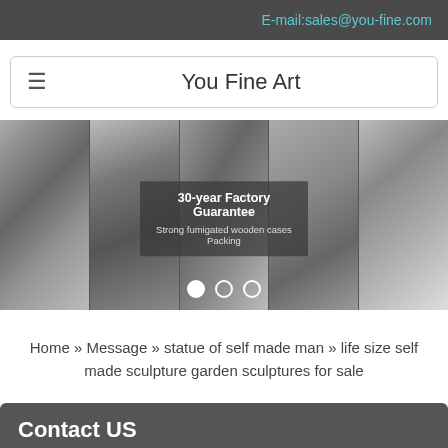E-mail:sales@you-fine.com
You Fine Art
[Figure (photo): Banner with five grayscale sculpted male figure photographs arranged side by side. Center overlay box reads '30-year Factory Guarantee' and 'Strong fumigated wooden cases Packing' with three slideshow dots below.]
Home » Message » statue of self made man » life size self made sculpture garden sculptures for sale
Contact US
Email: sales@you-fine.com